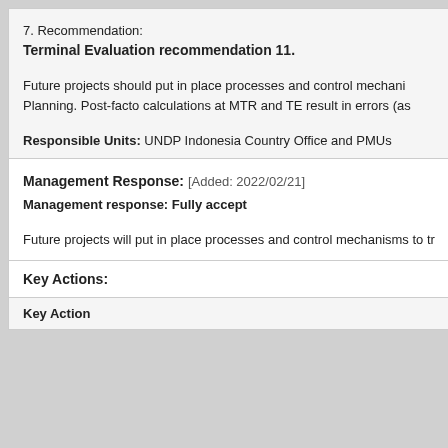7. Recommendation:
Terminal Evaluation recommendation 11.
Future projects should put in place processes and control mechani… Planning. Post-facto calculations at MTR and TE result in errors (as…
Responsible Units: UNDP Indonesia Country Office and PMUs
Management Response: [Added: 2022/02/21]
Management response: Fully accept
Future projects will put in place processes and control mechanisms to tr…
Key Actions:
| Key Action |
| --- |